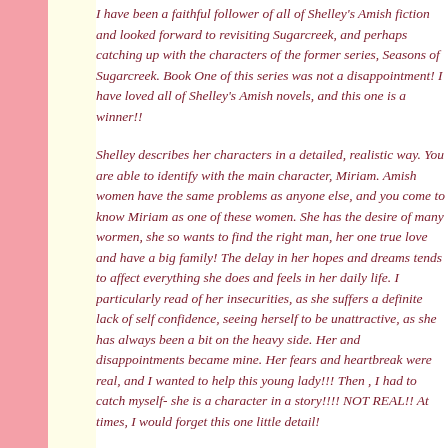I have been a faithful follower of all of Shelley's Amish fiction and looked forward to revisiting Sugarcreek, and perhaps catching up with the characters of the former series, Seasons of Sugarcreek. Book One of this series was not a disappointment! I have loved all of Shelley's Amish novels, and this one is a winner!!
Shelley describes her characters in a detailed, realistic way. You are able to identify with the main character, Miriam. Amish women have the same problems as anyone else, and you come to know Miriam as one of these women. She has the desire of many wormen, she so wants to find the right man, her one true love and have a big family! The delay in her hopes and dreams tends to affect everything she does and feels in her daily life. I particularly read of her insecurities, as she suffers a definite lack of self confidence, seeing herself to be unattractive, as she has always been a bit on the heavy side. Her and disappointments became mine. Her fears and heartbreak were real, and I wanted to help this young lady!!! Then , I had to catch myself- she is a character in a story!!!! NOT REAL!! At times, I would forget this one little detail!
The plot, although not a complicated one, draws you in from the start with unexpected twists and turns that keep you glued to the page. Will Miriam trust the Lord and seek His guidance while waiting for His plan to be realized? Will the gentleman who Miriam fancies, also listen to that small quiet voice, so they can have a life where hopes and dreams are fulfilled?? Perhaps. C